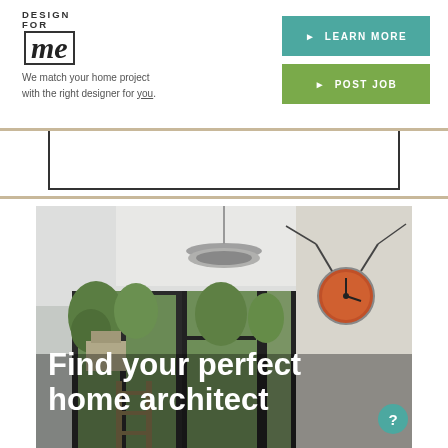[Figure (logo): Design for me logo — DESIGN FOR me in stylized text with 'me' in italic serif inside a box outline]
We match your home project with the right designer for you.
[Figure (screenshot): Teal 'LEARN MORE' button with right-pointing triangle]
[Figure (screenshot): Green 'POST JOB' button with right-pointing triangle]
[Figure (photo): Interior room photo showing modern kitchen/dining extension with black-framed glass sliding doors looking out to garden, pendant light, and a clock on the wall]
Find your perfect home architect